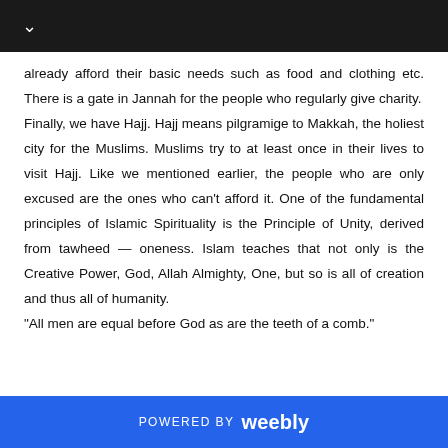already afford their basic needs such as food and clothing etc. There is a gate in Jannah for the people who regularly give charity.
Finally, we have Hajj. Hajj means pilgramige to Makkah, the holiest city for the Muslims. Muslims try to at least once in their lives to visit Hajj. Like we mentioned earlier, the people who are only excused are the ones who can't afford it. One of the fundamental principles of Islamic Spirituality is the Principle of Unity, derived from tawheed — oneness. Islam teaches that not only is the Creative Power, God, Allah Almighty, One, but so is all of creation and thus all of humanity.
"All men are equal before God as are the teeth of a comb."
POWERED BY weebly